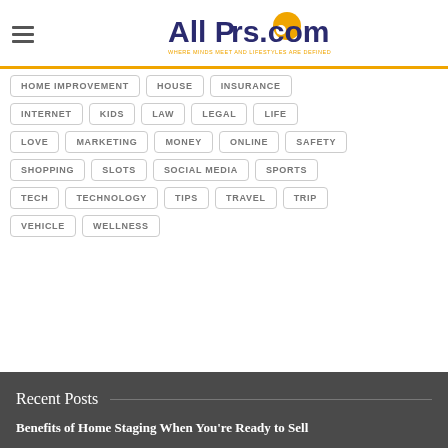[Figure (logo): AllPeers.com logo with orange speech bubble icon and tagline 'WHERE MINDS MEET AND LIFESTYLES ARE DEFINED']
HOME IMPROVEMENT
HOUSE
INSURANCE
INTERNET
KIDS
LAW
LEGAL
LIFE
LOVE
MARKETING
MONEY
ONLINE
SAFETY
SHOPPING
SLOTS
SOCIAL MEDIA
SPORTS
TECH
TECHNOLOGY
TIPS
TRAVEL
TRIP
VEHICLE
WELLNESS
Recent Posts
Benefits of Home Staging When You're Ready to Sell